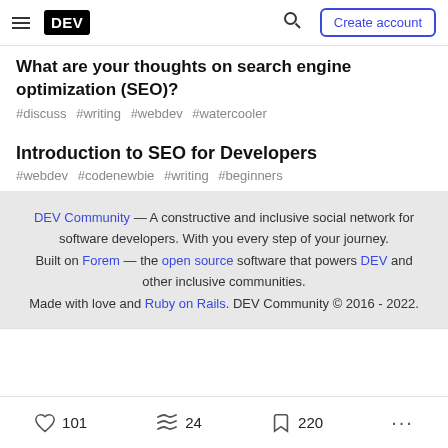DEV — Create account
What are your thoughts on search engine optimization (SEO)?
#discuss #writing #webdev #watercooler
Introduction to SEO for Developers
#webdev #codenewbie #writing #beginners
DEV Community — A constructive and inclusive social network for software developers. With you every step of your journey. Built on Forem — the open source software that powers DEV and other inclusive communities. Made with love and Ruby on Rails. DEV Community © 2016 - 2022.
101   24   220